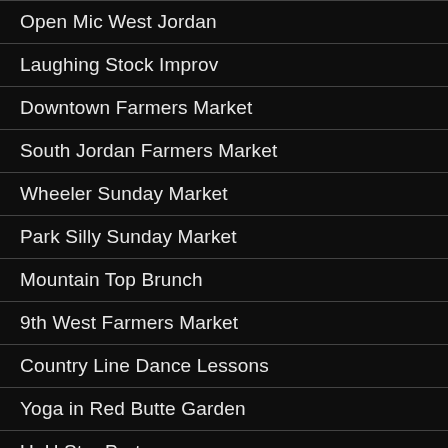Open Mic West Jordan
Laughing Stock Improv
Downtown Farmers Market
South Jordan Farmers Market
Wheeler Sunday Market
Park Silly Sunday Market
Mountain Top Brunch
9th West Farmers Market
Country Line Dance Lessons
Yoga in Red Butte Garden
UoU Star Party
Comedy Open Mic Night